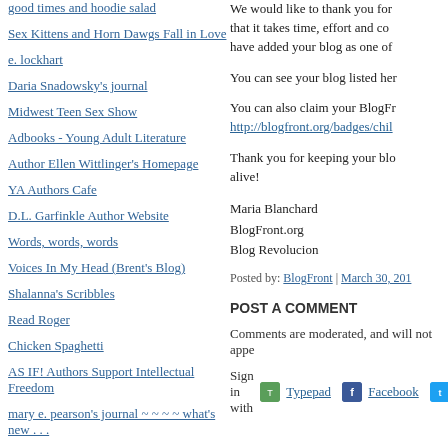good times and hoodie salad
Sex Kittens and Horn Dawgs Fall in Love
e. lockhart
Daria Snadowsky's journal
Midwest Teen Sex Show
Adbooks - Young Adult Literature
Author Ellen Wittlinger's Homepage
YA Authors Cafe
D.L. Garfinkle Author Website
Words, words, words
Voices In My Head (Brent's Blog)
Shalanna's Scribbles
Read Roger
Chicken Spaghetti
AS IF! Authors Support Intellectual Freedom
mary e. pearson's journal ~ ~ ~ ~ what's new . . .
Chicken Spaghetti
We would like to thank you for... that it takes time, effort and co... have added your blog as one of...
You can see your blog listed her...
You can also claim your BlogFr... http://blogfront.org/badges/chil...
Thank you for keeping your blo... alive!
Maria Blanchard
BlogFront.org
Blog Revolucion
Posted by: BlogFront | March 30, 201...
POST A COMMENT
Comments are moderated, and will not appe...
Sign in with Typepad Facebook [Twitter]